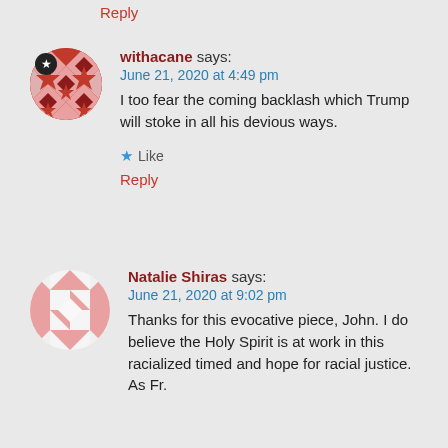Reply
[Figure (illustration): Avatar icon for user withacane: circular avatar with geometric diamond/star quilt pattern in dark red/crimson with a black badge showing a white star]
withacane says:
June 21, 2020 at 4:49 pm
I too fear the coming backlash which Trump will stoke in all his devious ways.
★ Like
Reply
[Figure (illustration): Avatar icon for user Natalie Shiras: circular avatar with geometric diamond/triangle pattern in salmon/light red on white background]
Natalie Shiras says:
June 21, 2020 at 9:02 pm
Thanks for this evocative piece, John. I do believe the Holy Spirit is at work in this racialized timed and hope for racial justice. As Fr.